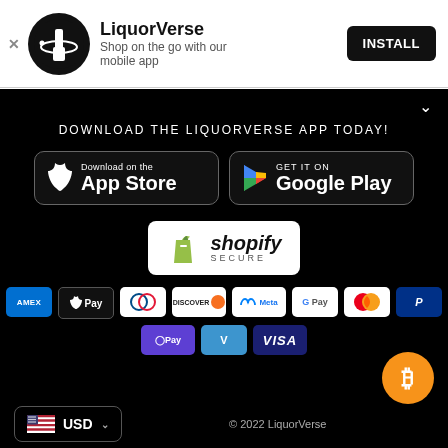[Figure (logo): LiquorVerse app install banner with logo, app name, tagline, and install button]
DOWNLOAD THE LIQUORVERSE APP TODAY!
[Figure (logo): Download on the App Store button]
[Figure (logo): Get it on Google Play button]
[Figure (logo): Shopify Secure badge]
[Figure (infographic): Payment method icons: AMEX, Apple Pay, Diners, Discover, Meta, Google Pay, Mastercard, PayPal, OPay, Venmo, Visa, Bitcoin]
[Figure (logo): USD currency selector with US flag]
© 2022 LiquorVerse